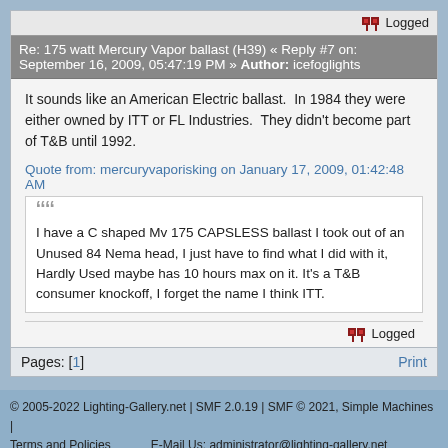Logged
Re: 175 watt Mercury Vapor ballast (H39) « Reply #7 on: September 16, 2009, 05:47:19 PM » Author: icefoglights
It sounds like an American Electric ballast.  In 1984 they were either owned by ITT or FL Industries.  They didn't become part of T&B until 1992.
Quote from: mercuryvaporisking on January 17, 2009, 01:42:48 AM
I have a C shaped Mv 175 CAPSLESS ballast I took out of an Unused 84 Nema head, I just have to find what I did with it, Hardly Used maybe has 10 hours max on it. It's a T&B consumer knockoff, I forget the name I think ITT.
Logged
Pages: [1]
Print
© 2005-2022 Lighting-Gallery.net | SMF 2.0.19 | SMF © 2021, Simple Machines | Terms and Policies    E-Mail Us: administrator@lighting-gallery.net